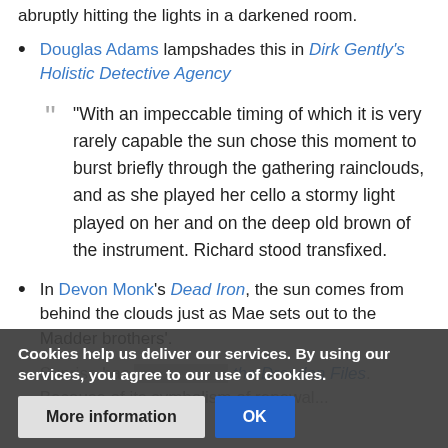abruptly hitting the lights in a darkened room.
Douglas Adams lampshades this in Dirk Gently's Holistic Detective Agency
"With an impeccable timing of which it is very rarely capable the sun chose this moment to burst briefly through the gathering rainclouds, and as she played her cello a stormy light played on her and on the deep old brown of the instrument. Richard stood transfixed.
In Devon Monk's Dead Iron, the sun comes from behind the clouds just as Mae sets out to the Madder brothers'.
Sunrise has [obscured] the Dresden Files. Because of its symbolism of renewal...
Cookies help us deliver our services. By using our services, you agree to our use of cookies.